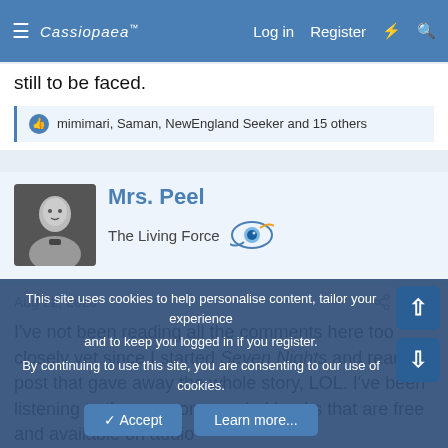Cassiopaea Forum — Log in  Register
still to be faced.
mimimari, Saman, NewEngland Seeker and 15 others
Mrs. Peel
The Living Force
Aug 22, 2020   #335
I've not been reading all the comments here too closely yet since I started Seven Nights and read a post that gave away the whole story, LOL. I've been listening to those recommended books that are free and available on audio
This site uses cookies to help personalise content, tailor your experience and to keep you logged in if you register.
By continuing to use this site, you are consenting to our use of cookies.